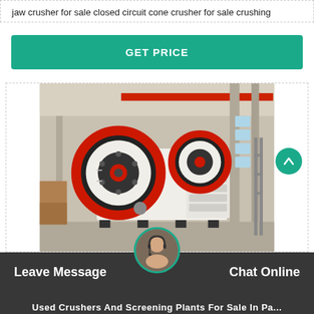jaw crusher for sale closed circuit cone crusher for sale crushing
GET PRICE
[Figure (photo): Industrial jaw crusher machine in a factory setting. The machine is white with red and black flywheel. Factory background with red overhead crane rail.]
Leave Message
Chat Online
Used Crushers And Screening Plants For Sale In Pa...